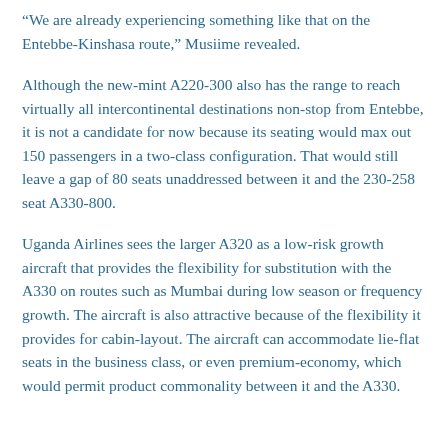“We are already experiencing something like that on the Entebbe-Kinshasa route,” Musiime revealed.
Although the new-mint A220-300 also has the range to reach virtually all intercontinental destinations non-stop from Entebbe, it is not a candidate for now because its seating would max out 150 passengers in a two-class configuration. That would still leave a gap of 80 seats unaddressed between it and the 230-258 seat A330-800.
Uganda Airlines sees the larger A320 as a low-risk growth aircraft that provides the flexibility for substitution with the A330 on routes such as Mumbai during low season or frequency growth. The aircraft is also attractive because of the flexibility it provides for cabin-layout. The aircraft can accommodate lie-flat seats in the business class, or even premium-economy, which would permit product commonality between it and the A330.